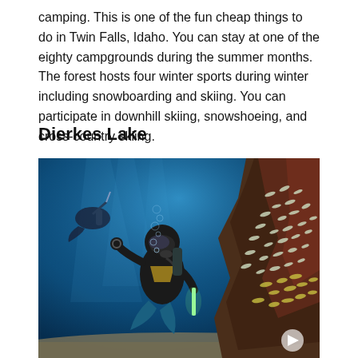camping. This is one of the fun cheap things to do in Twin Falls, Idaho. You can stay at one of the eighty campgrounds during the summer months. The forest hosts four winter sports during winter including snowboarding and skiing. You can participate in downhill skiing, snowshoeing, and cross-country skiing.
Dierkes Lake
[Figure (photo): Underwater scuba diving scene showing a diver in black wetsuit holding a light stick and making an OK sign with fingers, surrounded by a school of fish near a large rocky structure, with another diver visible in the background in blue water.]